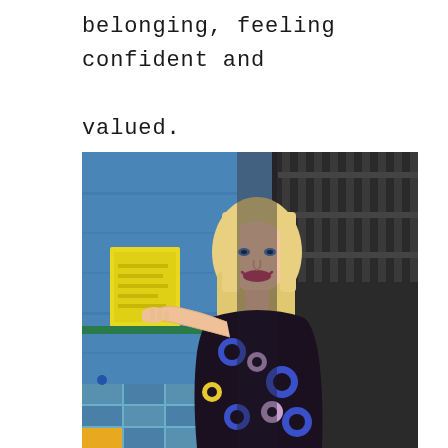belonging, feeling confident and valued.
[Figure (photo): A young blonde woman smiling and posing with her hand against a colorful graffiti-covered blue wall. She is wearing a dark floral dress with blue and pink flowers. In the background there is a dark metal gate/bars on the right side.]